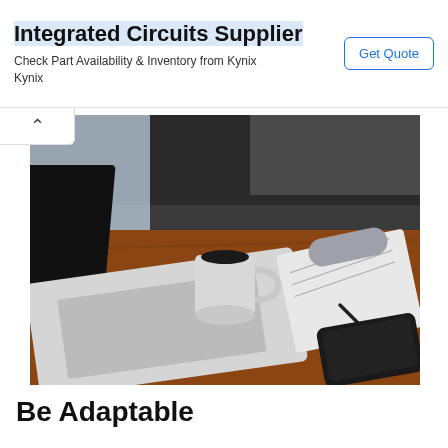[Figure (other): Advertisement banner for Integrated Circuits Supplier by Kynix with Get Quote button]
[Figure (photo): Photo of a wooden desk with a laptop, coffee mug, notepad with pen, and a smartphone on a dark background]
Be Adaptable